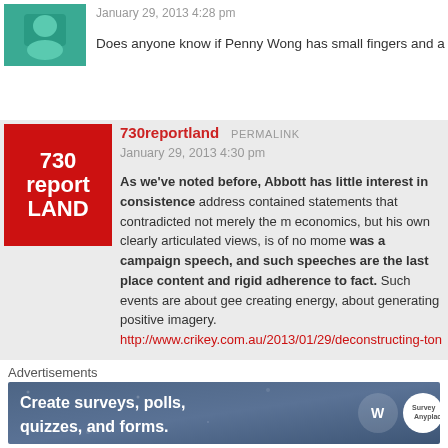[Figure (screenshot): User avatar thumbnail, teal/green colored image]
January 29, 2013 4:28 pm
Does anyone know if Penny Wong has small fingers and a medi
[Figure (logo): 730 report LAND logo, red background, white text]
730reportland PERMALINK
January 29, 2013 4:30 pm
As we've noted before, Abbott has little interest in consistence address contained statements that contradicted not merely the m economics, but his own clearly articulated views, is of no mome was a campaign speech, and such speeches are the last place content and rigid adherence to fact. Such events are about gee creating energy, about generating positive imagery.
http://www.crikey.com.au/2013/01/29/deconstructing-tony-abbo of-authenticity/
=
Some nice LOLs from bernie in that one armchair 🙂 🙂 🙂
Advertisements
[Figure (screenshot): Advertisement banner: Create surveys, polls, quizzes, and forms. WordPress and Survey logos visible.]